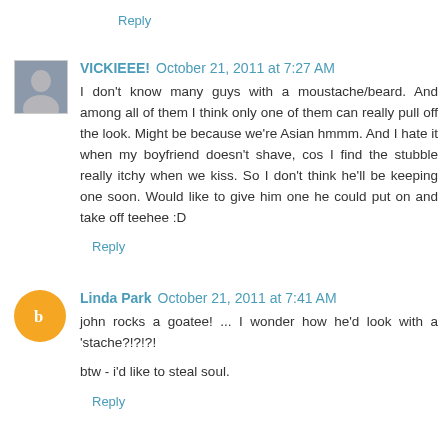Reply
VICKIEEE!  October 21, 2011 at 7:27 AM
I don't know many guys with a moustache/beard. And among all of them I think only one of them can really pull off the look. Might be because we're Asian hmmm. And I hate it when my boyfriend doesn't shave, cos I find the stubble really itchy when we kiss. So I don't think he'll be keeping one soon. Would like to give him one he could put on and take off teehee :D
Reply
Linda Park  October 21, 2011 at 7:41 AM
john rocks a goatee! ... I wonder how he'd look with a 'stache?!?!?!
btw - i'd like to steal soul.
Reply